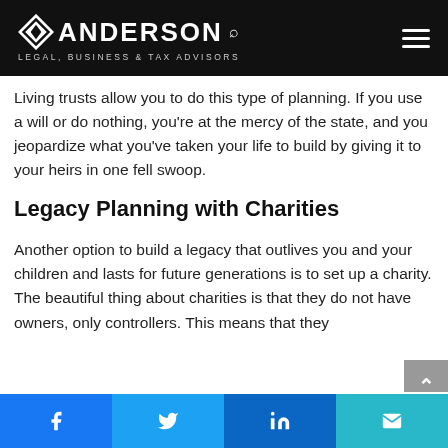ANDERSON LEGAL, BUSINESS & TAX ADVISORS
Living trusts allow you to do this type of planning. If you use a will or do nothing, you're at the mercy of the state, and you jeopardize what you've taken your life to build by giving it to your heirs in one fell swoop.
Legacy Planning with Charities
Another option to build a legacy that outlives you and your children and lasts for future generations is to set up a charity. The beautiful thing about charities is that they do not have owners, only controllers. This means that they